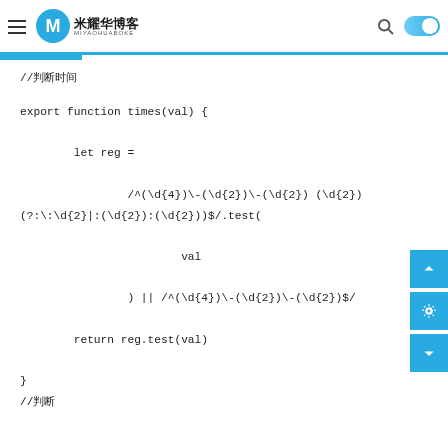米耀华博客 MIYAOHUABOKE
//判断时间
export function times(val) {

        let reg =

                /^(\d{4})\-(\d{2})\-(\d{2}) (\d{2})(?:\:\d{2}|:(\d{2}):(\d{2}))$/.test(

                        val

                ) || /^(\d{4})\-(\d{2})\-(\d{2})$/

        return reg.test(val)

}
//判断